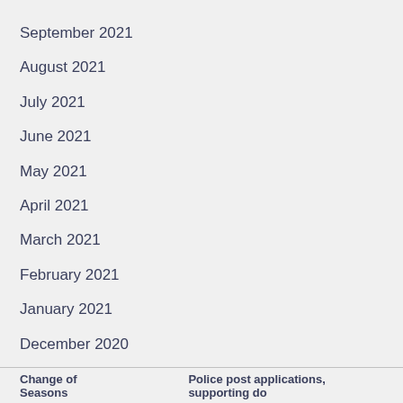September 2021
August 2021
July 2021
June 2021
May 2021
April 2021
March 2021
February 2021
January 2021
December 2020
November 2020
Change of Seasons    Police post applications, supporting do